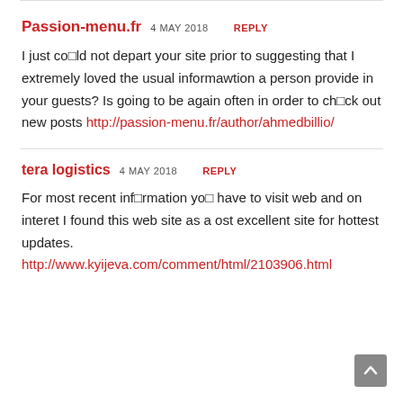Passion-menu.fr 4 MAY 2018 REPLY
I just could not depart your site prior to suggesting that I extremely loved the usual informawtion a person provide in your guests? Is going to be again often in order to chck out new posts http://passion-menu.fr/author/ahmedbillio/
tera logistics 4 MAY 2018 REPLY
For most recent infrmation you have to visit web and on interet I found this web site as a ost excellent site for hottest updates. http://www.kyijeva.com/comment/html/2103906.html